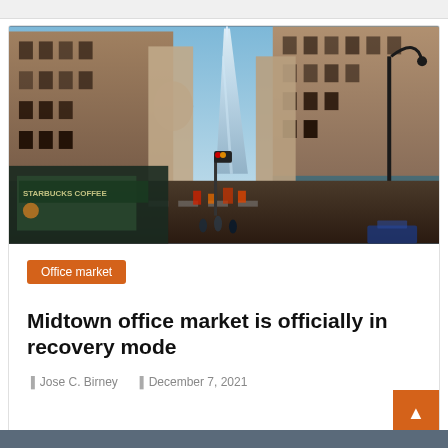[Figure (photo): Street-level view of New York City with tall buildings on either side and One World Trade Center visible in the background. A Starbucks Coffee is visible on the lower left. Urban street scene with traffic lights and people.]
Office market
Midtown office market is officially in recovery mode
Jose C. Birney   December 7, 2021